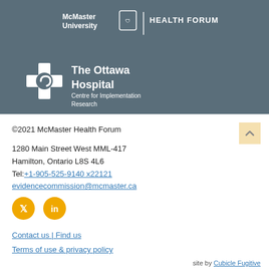[Figure (logo): McMaster University and Health Forum logo at top, followed by The Ottawa Hospital Centre for Implementation Research logo on grey/slate background]
©2021 McMaster Health Forum
1280 Main Street West MML-417
Hamilton, Ontario L8S 4L6
Tel:+1-905-525-9140 x22121
evidencecommission@mcmaster.ca
[Figure (other): Twitter and LinkedIn social media icons as gold/yellow circles]
Contact us | Find us
Terms of use & privacy policy
site by Cubicle Fugitive